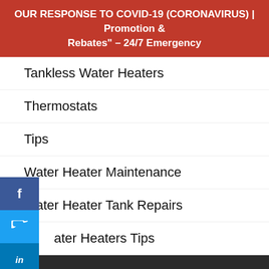OUR RESPONSE TO COVID-19 (CORONAVIRUS) | Promotion & Rebates" – 24/7 Emergency
Tankless Water Heaters
Thermostats
Tips
Water Heater Maintenance
Water Heater Tank Repairs
Water Heaters Tips
roducts
Furnaces
Air Conditione…
Water Heater…
We're Online! How may I help you today?